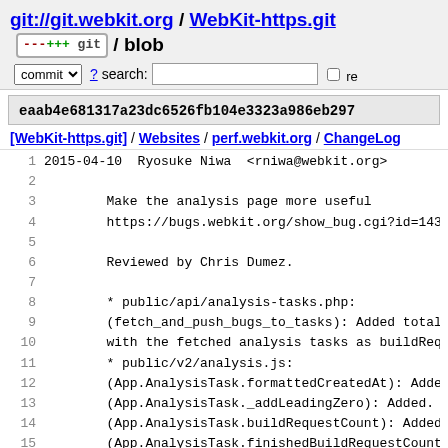git://git.webkit.org / WebKit-https.git / blob
commit ? search: re
eaab4e681317a23dc6526fb104e3323a986eb297
[WebKit-https.git] / Websites / perf.webkit.org / ChangeLog
1  2015-04-10  Ryosuke Niwa  <rniwa@webkit.org>
2
3          Make the analysis page more useful
4          https://bugs.webkit.org/show_bug.cgi?id=143617
5
6          Reviewed by Chris Dumez.
7
8          * public/api/analysis-tasks.php:
9          (fetch_and_push_bugs_to_tasks): Added total and
10          with the fetched analysis tasks as buildRequest
11          * public/v2/analysis.js:
12          (App.AnalysisTask.formattedCreatedAt): Added.
13          (App.AnalysisTask._addLeadingZero): Added.
14          (App.AnalysisTask.buildRequestCount): Added.
15          (App.AnalysisTask.finishedBuildRequestCount): A
16          (App.AnalysisTask.statusLabel): Added. Status t
17          (App.AnalysisTask.testGroups):
18          (App.AnalysisTask.triggerable):
19          (App.AnalysisTask.label):
20
21